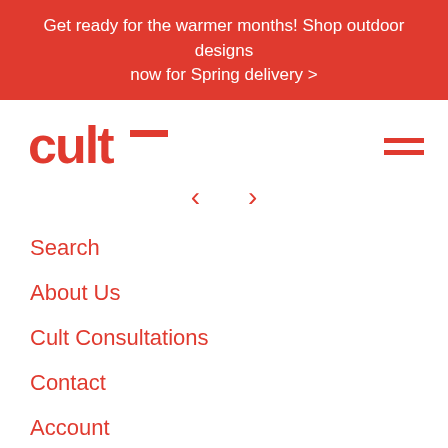Get ready for the warmer months! Shop outdoor designs now for Spring delivery >
[Figure (logo): CULT furniture brand logo in red]
[Figure (other): Hamburger menu icon (three red horizontal lines)]
[Figure (other): Left and right navigation chevron arrows in red]
Search
About Us
Cult Consultations
Contact
Account
Join the Cult Community
Brands